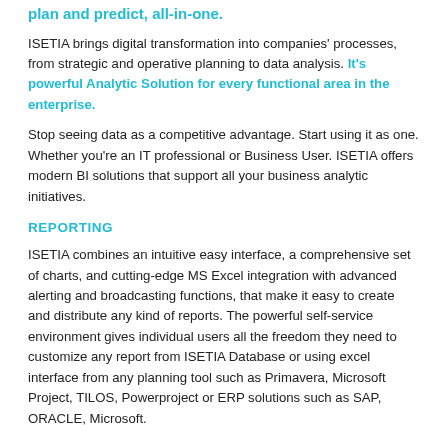plan and predict, all-in-one.
ISETIA brings digital transformation into companies' processes, from strategic and operative planning to data analysis. It's powerful Analytic Solution for every functional area in the enterprise.
Stop seeing data as a competitive advantage. Start using it as one. Whether you're an IT professional or Business User. ISETIA offers modern BI solutions that support all your business analytic initiatives.
REPORTING
ISETIA combines an intuitive easy interface, a comprehensive set of charts, and cutting-edge MS Excel integration with advanced alerting and broadcasting functions, that make it easy to create and distribute any kind of reports. The powerful self-service environment gives individual users all the freedom they need to customize any report from ISETIA Database or using excel interface from any planning tool such as Primavera, Microsoft Project, TILOS, Powerproject or ERP solutions such as SAP, ORACLE, Microsoft.